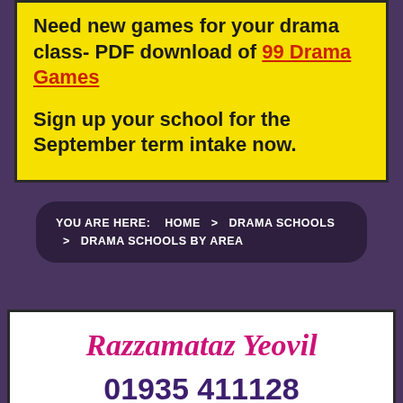Need new games for your drama class- PDF download of 99 Drama Games
Sign up your school for the September term intake now.
YOU ARE HERE:   HOME  >   DRAMA SCHOOLS  >   DRAMA SCHOOLS BY AREA
Razzamataz Yeovil
01935 411128